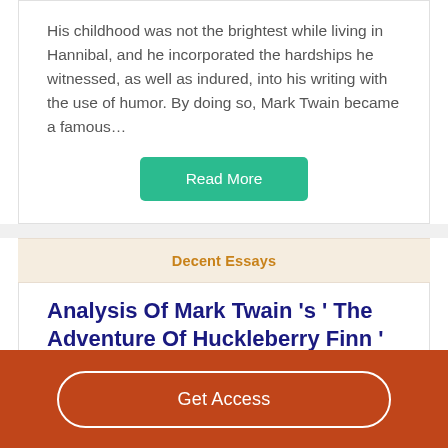His childhood was not the brightest while living in Hannibal, and he incorporated the hardships he witnessed, as well as indured, into his writing with the use of humor. By doing so, Mark Twain became a famous…
Read More
Decent Essays
Analysis Of Mark Twain 's ' The Adventure Of Huckleberry Finn '
1064 Words
5 Pages
Get Access